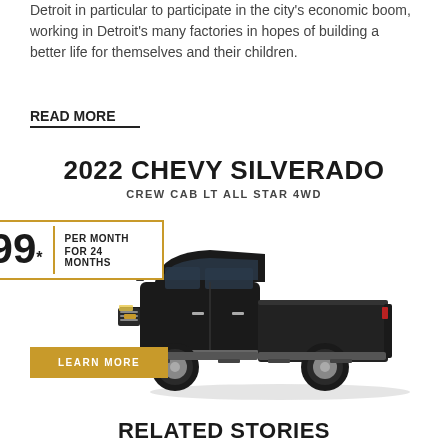Detroit in particular to participate in the city's economic boom, working in Detroit's many factories in hopes of building a better life for themselves and their children.
READ MORE
[Figure (infographic): 2022 Chevy Silverado advertisement showing a black pickup truck with pricing of $299 per month for 24 months and a LEARN MORE button]
RELATED STORIES